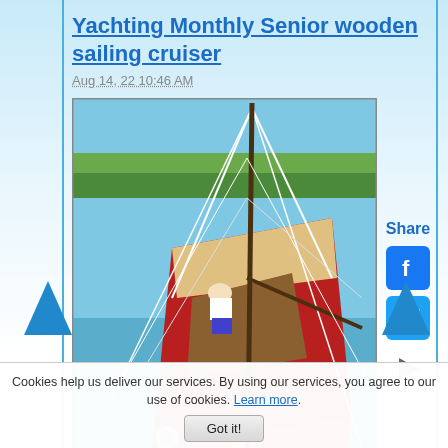Yachting Monthly Senior wooden sailing cruiser
Aug 14, 22 10:46 AM
[Figure (photo): Aerial/tilted view of a wooden sailing cruiser with red hull, rigging and mast visible, person on deck, water and green shoreline in background]
Yachting monthly senior wooden sailing cruiser lovingly cared for over 30 years plus - repainted each year. Age forces time to move on (88)! 16 f
Read M
Share
Cookies help us deliver our services. By using our services, you agree to our use of cookies. Learn more.
Got it!